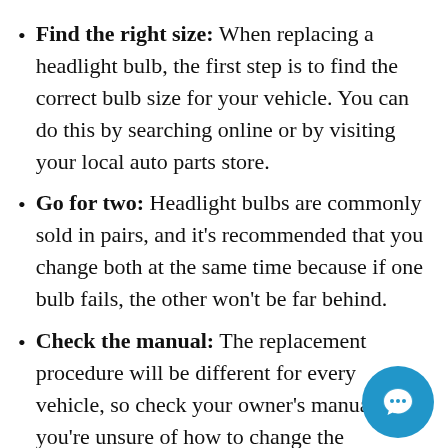Find the right size: When replacing a headlight bulb, the first step is to find the correct bulb size for your vehicle. You can do this by searching online or by visiting your local auto parts store.
Go for two: Headlight bulbs are commonly sold in pairs, and it's recommended that you change both at the same time because if one bulb fails, the other won't be far behind.
Check the manual: The replacement procedure will be different for every vehicle, so check your owner's manual if you're unsure of how to change the headlight bulb.
Get started: Generally, you'll start by unclipping the wiring harness that attaches to the bulb. Then, rotate the bulb (usually